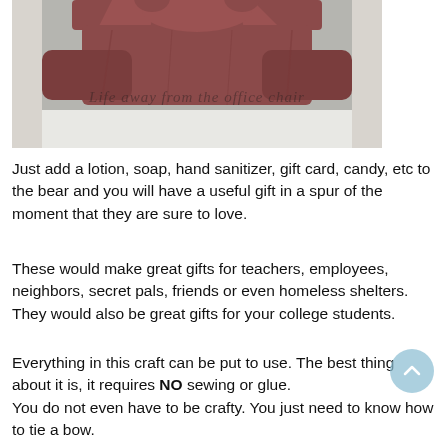[Figure (photo): Photo of a brown/mauve towel folded into the shape of a bear, sitting on a white surface. A watermark in cursive script reads 'Life away from the office chair'.]
Just add a lotion, soap, hand sanitizer, gift card, candy, etc to the bear and you will have a useful gift in a spur of the moment that they are sure to love.
These would make great gifts for teachers, employees, neighbors, secret pals, friends or even homeless shelters. They would also be great gifts for your college students.
Everything in this craft can be put to use. The best thing about it is, it requires NO sewing or glue.
You do not even have to be crafty. You just need to know how to tie a bow.